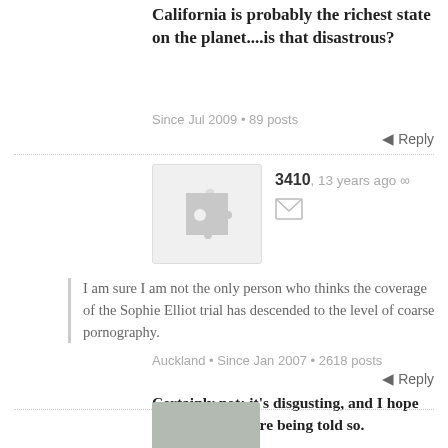California is probably the richest state on the planet....is that disastrous?
Since Jul 2009 • 89 posts
Reply
[Figure (illustration): User avatar placeholder: grey square with puzzle piece icon]
3410, 13 years ago ∞
I am sure I am not the only person who thinks the coverage of the Sophie Elliot trial has descended to the level of coarse pornography.
Certainly not; it's disgusting, and I hope certain editors are being told so.
Auckland • Since Jan 2007 • 2618 posts
Reply
[Figure (illustration): User avatar placeholder: solid grey square with speech bubble tail]
Keir Leslie, 13 years ago ∞
Um, the State of California is pretty much bankrupt. They're going to have to start paying...